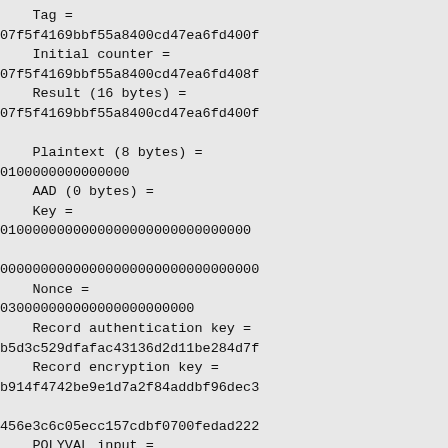Tag =
07f5f4169bbf55a8400cd47ea6fd400f
    Initial counter =
07f5f4169bbf55a8400cd47ea6fd408f
    Result (16 bytes) =
07f5f4169bbf55a8400cd47ea6fd400f

    Plaintext (8 bytes) =
0100000000000000
    AAD (0 bytes) =
    Key =
0100000000000000000000000000000

00000000000000000000000000000000
    Nonce =
030000000000000000000000
    Record authentication key =
b5d3c529dfafac43136d2d11be284d7f
    Record encryption key =
b914f4742be9e1d7a2f84addbf96dec3

456e3c6c05ecc157cdbf0700fedad222
    POLYVAL input =